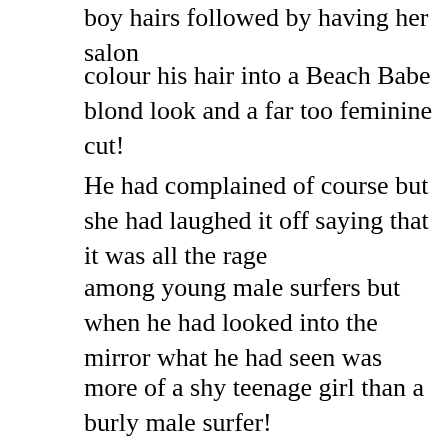boy hairs followed by having her salon
colour his hair into a Beach Babe blond look and a far too feminine cut!
He had complained of course but she had laughed it off saying that it was all the rage
among young male surfers but when he had looked into the mirror what he had seen was
more of a shy teenage girl than a burly male surfer!
After that the changes had come fast and furious. She insisted that he upgrade his